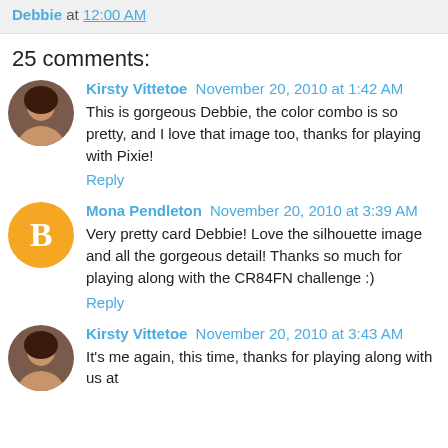Debbie at 12:00 AM
25 comments:
Kirsty Vittetoe November 20, 2010 at 1:42 AM
This is gorgeous Debbie, the color combo is so pretty, and I love that image too, thanks for playing with Pixie!
Reply
Mona Pendleton November 20, 2010 at 3:39 AM
Very pretty card Debbie! Love the silhouette image and all the gorgeous detail! Thanks so much for playing along with the CR84FN challenge :)
Reply
Kirsty Vittetoe November 20, 2010 at 3:43 AM
It's me again, this time, thanks for playing along with us at